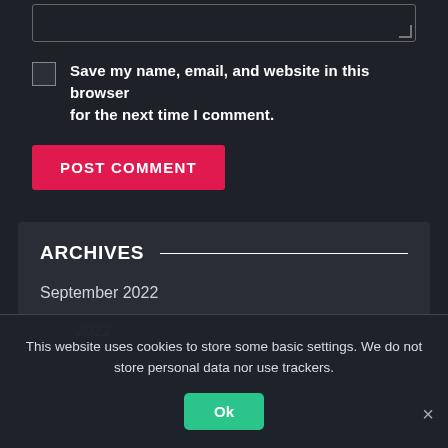[Figure (screenshot): Textarea input box with resize handle at bottom right, partially visible at top of page]
Save my name, email, and website in this browser for the next time I comment.
POST COMMENT
ARCHIVES
September 2022
...2022 (partially visible)
This website uses cookies to store some basic settings. We do not store personal data nor use trackers.
Ok